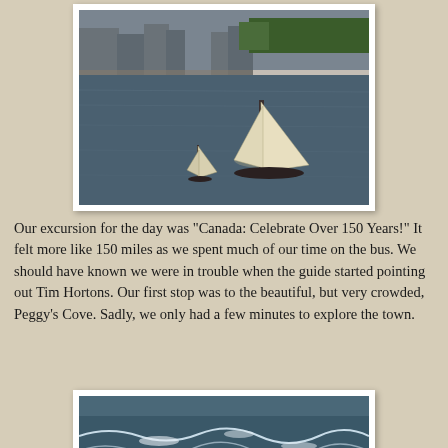[Figure (photo): Sailboats on a calm harbour with city buildings and trees in the background. A large sailboat with white sails is prominent on the right, a smaller sailboat is in the center-left.]
Our excursion for the day was "Canada: Celebrate Over 150 Years!" It felt more like 150 miles as we spent much of our time on the bus. We should have known we were in trouble when the guide started pointing out Tim Hortons. Our first stop was to the beautiful, but very crowded, Peggy's Cove. Sadly, we only had a few minutes to explore the town.
[Figure (photo): Rocky coastline with ocean waves crashing against large boulders, blue choppy water visible.]